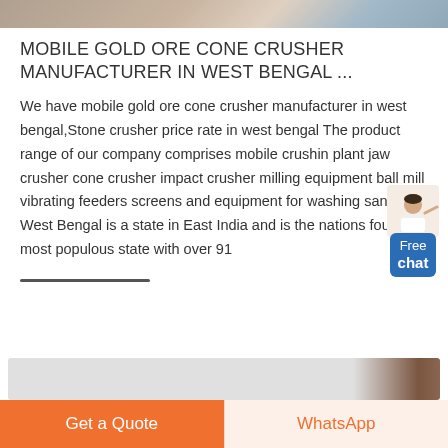[Figure (photo): Top portion of a photo showing a stone crushing site with aggregate/gravel, partially visible]
MOBILE GOLD ORE CONE CRUSHER MANUFACTURER IN WEST BENGAL ...
We have mobile gold ore cone crusher manufacturer in west bengal,Stone crusher price rate in west bengal The product range of our company comprises mobile crushing plant jaw crusher cone crusher impact crusher milling equipment ball mill vibrating feeders screens and equipment for washing sand West Bengal is a state in East India and is the nations fourth-most populous state with over 91
[Figure (photo): Bottom portion of another page card image, partially visible]
Get a Quote
WhatsApp